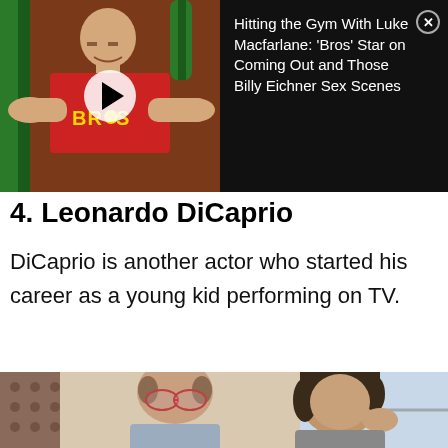[Figure (screenshot): Video thumbnail showing a muscular man in a red BROS tank top on gym equipment, with a white play button overlay. Dark panel on right shows text: 'Hitting the Gym With Luke Macfarlane: Bros Star on Coming Out and Those Billy Eichner Sex Scenes' with a close X button.]
4. Leonardo DiCaprio
DiCaprio is another actor who started his career as a young kid performing on TV.
[Figure (photo): Old photograph showing two people, an older balding man with glasses and a younger person with dark hair, in what appears to be a home setting.]